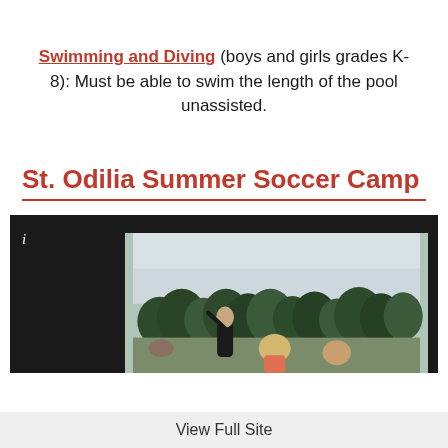Swimming and Diving (boys and girls grades K-8): Must be able to swim the length of the pool unassisted.
St. Odilia Summer Soccer Camp
[Figure (photo): Photo of children playing soccer outdoors with trees in background, displayed with black letterbox borders]
View Full Site